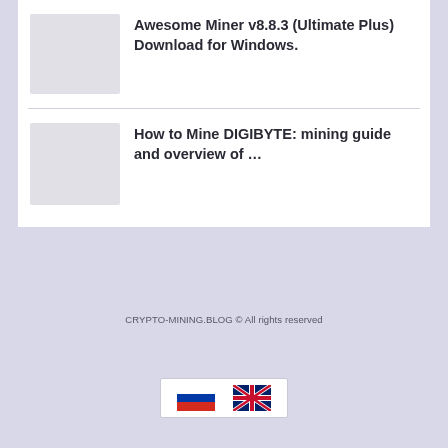[Figure (illustration): Thumbnail placeholder for Awesome Miner article]
Awesome Miner v8.8.3 (Ultimate Plus) Download for Windows.
[Figure (illustration): Thumbnail placeholder for Digibyte mining article]
How to Mine DIGIBYTE: mining guide and overview of …
CRYPTO-MINING.BLOG © All rights reserved
[Figure (other): Russian and UK flag icons for language selection]